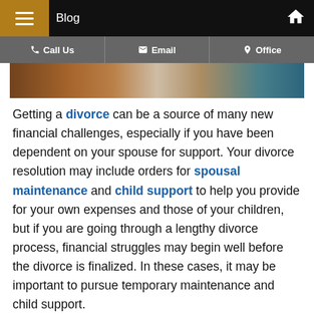Blog
[Figure (photo): Partial view of a dining table with food, plates, and glasses — likely a holiday or family dinner scene]
Getting a divorce can be a source of many new financial challenges, especially if you have been dependent on your spouse for support. Your divorce resolution may include orders for spousal maintenance and child support to help you provide for your own expenses and those of your children, but if you are going through a lengthy divorce process, financial struggles may begin well before the divorce is finalized. In these cases, it may be important to pursue temporary maintenance and child support.
When is Temporary Relief